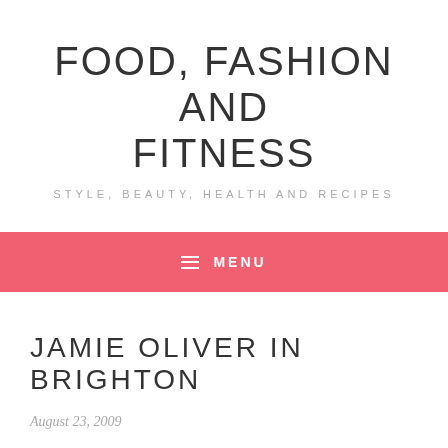FOOD, FASHION AND FITNESS
STYLE, BEAUTY, HEALTH AND RECIPES
≡  MENU
JAMIE OLIVER IN BRIGHTON
August 23, 2009